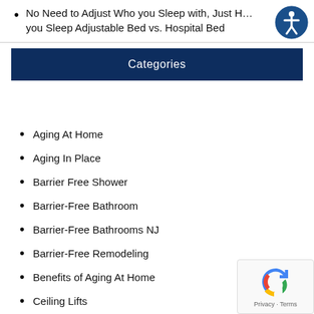No Need to Adjust Who you Sleep with, Just H… you Sleep Adjustable Bed vs. Hospital Bed
Categories
Aging At Home
Aging In Place
Barrier Free Shower
Barrier-Free Bathroom
Barrier-Free Bathrooms NJ
Barrier-Free Remodeling
Benefits of Aging At Home
Ceiling Lifts
Chair Lifts NJ
Grab Bars NJ